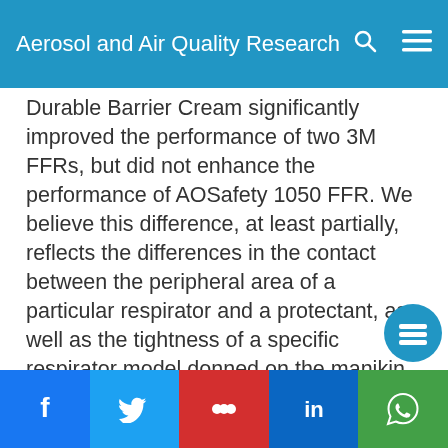Aerosol and Air Quality Research
Durable Barrier Cream significantly improved the performance of two 3M FFRs, but did not enhance the performance of AOSafety 1050 FFR. We believe this difference, at least partially, reflects the differences in the contact between the peripheral area of a particular respirator and a protectant, as well as the tightness of a specific respirator model donned on the manikin.
Application of skin protectants improved the performance
Aerosol and Air Quality Research (AAQR) is an independently-run non-profit journal that promotes submissions of high-quality research and strives to be one of the leading aerosol and air quality open-access journals in the world. We use cookies on this website to personalize content to improve your user experience and analyze our traffic. By using this site you agree to its use of cookies.